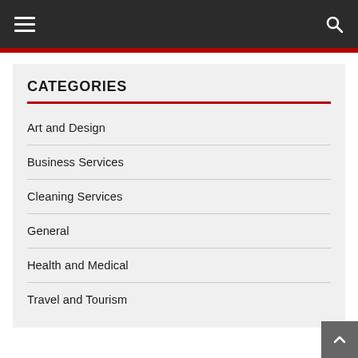Navigation bar with hamburger menu and search icon
CATEGORIES
Art and Design
Business Services
Cleaning Services
General
Health and Medical
Travel and Tourism